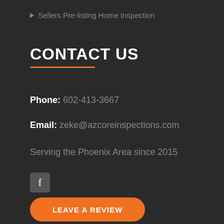Sellers Pre-listing Home Inspection
CONTACT US
Phone: 602-413-3667
Email: zeke@azcoreinspections.com
Serving the Phoenix Area since 2015
[Figure (logo): Facebook icon button]
LEAVE A REVIEW